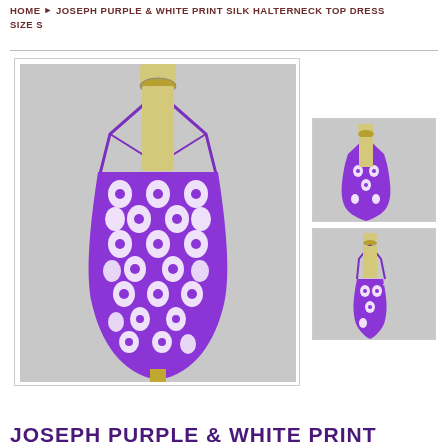HOME > JOSEPH PURPLE & WHITE PRINT SILK HALTERNECK TOP DRESS SIZE S
[Figure (photo): Main product photo: a yellow mannequin wearing a purple and white print silk halterneck top dress on a white background]
[Figure (photo): Thumbnail 1: front view of the purple and white print halterneck dress on mannequin]
[Figure (photo): Thumbnail 2: back/side view of the purple and white print halterneck dress on mannequin]
JOSEPH PURPLE & WHITE PRINT